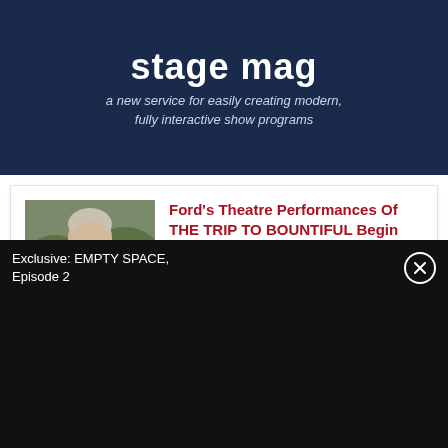[Figure (screenshot): Stage Mag advertisement banner with dark navy background showing 'stage mag' logo text and subtitle 'a new service for easily creating modern, fully interactive show programs']
[Figure (photo): Photo of a person (woman with light hair) smiling, wearing dark clothing, with foliage in background]
Ford's Theatre Performances Of THE TRIP TO BOUNTIFUL Begin Next Month
by Stephi Wild - Aug 30, 2022
Ford's Theatre Society announced full casting and the design team for Horton Foote's The Trip to Bountiful, September 23 – October 16, 2022
Exclusive: EMPTY SPACE, Episode 2